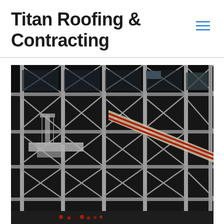Titan Roofing & Contracting
[Figure (photo): Exterior photo of a large industrial or cultural building with exposed structural steel framework, cross-bracing, diagonal supports, scaffolding platforms, a diagonal escalator tube with red and white accents, and people visible at the base. Reminiscent of the Centre Pompidou in Paris.]